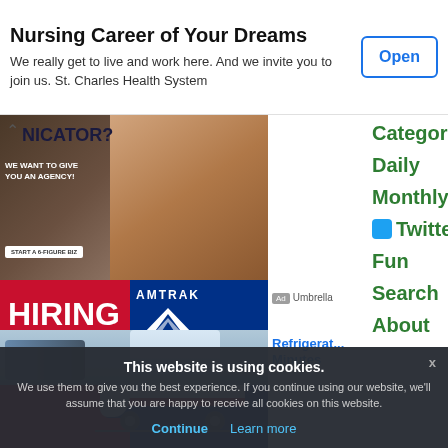Nursing Career of Your Dreams
We really get to live and work here. And we invite you to join us. St. Charles Health System
Open
[Figure (screenshot): Ad image showing person working on laptop, with text overlay NICATOR? WE WANT TO GIVE YOU AN AGENCY!]
Ad Umbrella
Categories
Daily
Monthly
[Figure (screenshot): Amtrak HIRING NOW advertisement with train image, AMTK is H... headline]
AMTK is H
Ad JobHat.com
Twitter
Fun
Search
About
[Figure (photo): Refrigerator/appliance product image with person's hands]
Refrigerat... Minutes
This website is using cookies.
We use them to give you the best experience. If you continue using our website, we'll assume that you are happy to receive all cookies on this website.
Continue
Learn more